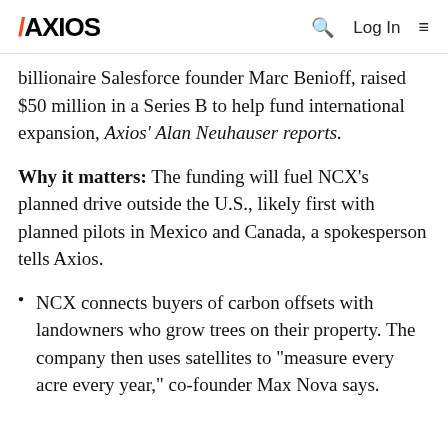AXIOS
billionaire Salesforce founder Marc Benioff, raised $50 million in a Series B to help fund international expansion, Axios' Alan Neuhauser reports.
Why it matters: The funding will fuel NCX's planned drive outside the U.S., likely first with planned pilots in Mexico and Canada, a spokesperson tells Axios.
NCX connects buyers of carbon offsets with landowners who grow trees on their property. The company then uses satellites to "measure every acre every year," co-founder Max Nova says.